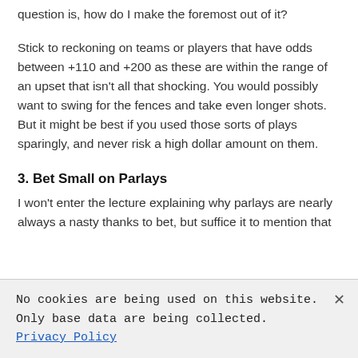question is, how do I make the foremost out of it?
Stick to reckoning on teams or players that have odds between +110 and +200 as these are within the range of an upset that isn't all that shocking. You would possibly want to swing for the fences and take even longer shots. But it might be best if you used those sorts of plays sparingly, and never risk a high dollar amount on them.
3. Bet Small on Parlays
I won't enter the lecture explaining why parlays are nearly always a nasty thanks to bet, but suffice it to mention that
No cookies are being used on this website. Only base data are being collected. Privacy Policy